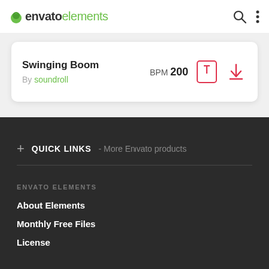envato elements
Swinging Boom
By soundroll
BPM 200
+ QUICK LINKS - More Envato products
ENVATO ELEMENTS
About Elements
Monthly Free Files
License